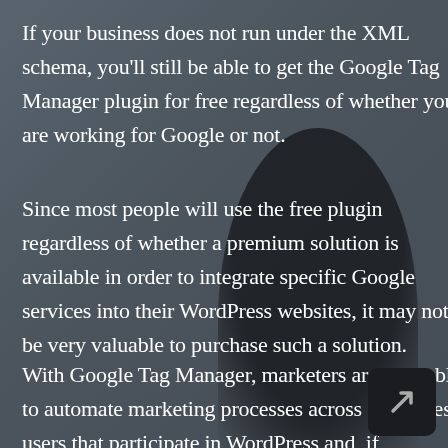If your business does not run under the XML schema, you'll still be able to get the Google Tag Manager plugin for free regardless of whether you are working for Google or not.
Since most people will use the free plugin regardless of whether a premium solution is available in order to integrate specific Google services into their WordPress websites, it may not be very valuable to purchase such a solution.
With Google Tag Manager, marketers are now able to automate marketing processes across all of these users that participate in WordPress and, if